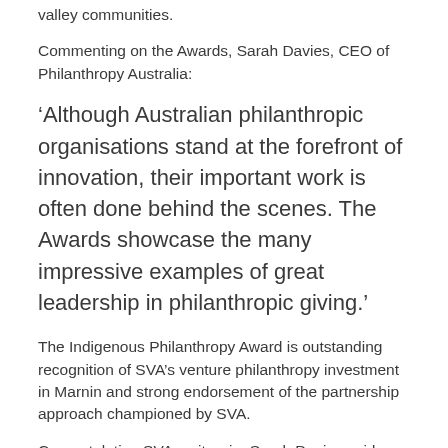valley communities.
Commenting on the Awards, Sarah Davies, CEO of Philanthropy Australia:
‘Although Australian philanthropic organisations stand at the forefront of innovation, their important work is often done behind the scenes. The Awards showcase the many impressive examples of great leadership in philanthropic giving.’
The Indigenous Philanthropy Award is outstanding recognition of SVA’s venture philanthropy investment in Marnin and strong endorsement of the partnership approach championed by SVA.
Congratulating SVA on its win, Sarah Davies said: